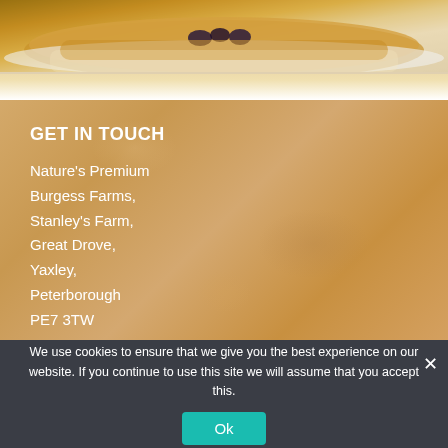[Figure (photo): Partial view of food (toast/pancake with topping) on a white plate, cropped at top]
GET IN TOUCH
Nature's Premium
Burgess Farms,
Stanley's Farm,
Great Drove,
Yaxley,
Peterborough
PE7 3TW
We use cookies to ensure that we give you the best experience on our website. If you continue to use this site we will assume that you accept this.